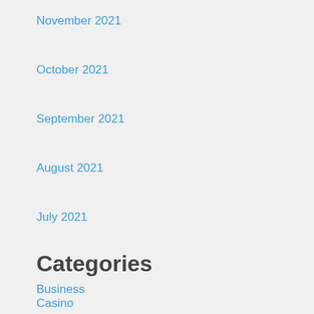November 2021
October 2021
September 2021
August 2021
July 2021
Categories
Business
Casino
Game
Uncategorized